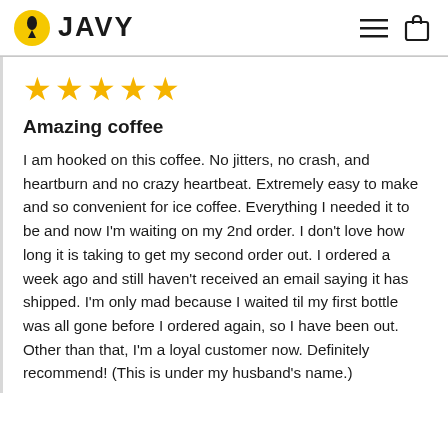JAVY
★★★★★
Amazing coffee
I am hooked on this coffee. No jitters, no crash, and heartburn and no crazy heartbeat. Extremely easy to make and so convenient for ice coffee. Everything I needed it to be and now I'm waiting on my 2nd order. I don't love how long it is taking to get my second order out. I ordered a week ago and still haven't received an email saying it has shipped. I'm only mad because I waited til my first bottle was all gone before I ordered again, so I have been out. Other than that, I'm a loyal customer now. Definitely recommend! (This is under my husband's name.)